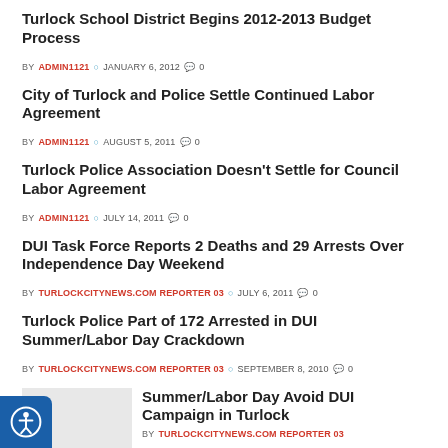Turlock School District Begins 2012-2013 Budget Process
BY ADMIN1121 | JANUARY 6, 2012 | 0
City of Turlock and Police Settle Continued Labor Agreement
BY ADMIN1121 | AUGUST 5, 2011 | 0
Turlock Police Association Doesn't Settle for Council Labor Agreement
BY ADMIN1121 | JULY 14, 2011 | 0
DUI Task Force Reports 2 Deaths and 29 Arrests Over Independence Day Weekend
BY TURLOCKCITYNEWS.COM REPORTER 03 | JULY 6, 2011 | 0
Turlock Police Part of 172 Arrested in DUI Summer/Labor Day Crackdown
BY TURLOCKCITYNEWS.COM REPORTER 03 | SEPTEMBER 8, 2010 | 0
Summer/Labor Day Avoid DUI Campaign in Turlock
BY TURLOCKCITYNEWS.COM REPORTER 03